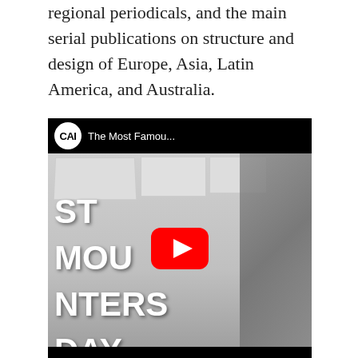regional periodicals, and the main serial publications on structure and design of Europe, Asia, Latin America, and Australia.
[Figure (screenshot): Embedded YouTube video thumbnail showing a gallery room interior in black and white with large overlapping text reading 'ST', 'MOU', 'NTERS', 'DAY'. A YouTube play button is centered. The top bar shows the CAI logo in a white circle and title 'The Most Famou...'. The bottom bar is black.]